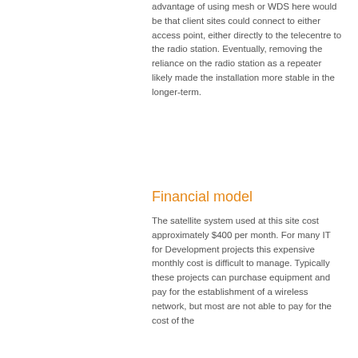advantage of using mesh or WDS here would be that client sites could connect to either access point, either directly to the telecentre to the radio station. Eventually, removing the reliance on the radio station as a repeater likely made the installation more stable in the longer-term.
Financial model
The satellite system used at this site cost approximately $400 per month. For many IT for Development projects this expensive monthly cost is difficult to manage. Typically these projects can purchase equipment and pay for the establishment of a wireless network, but most are not able to pay for the cost of the